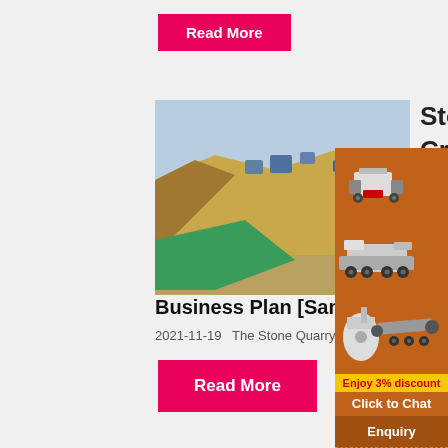Read More
[Figure (photo): Aerial view of a stone quarry with mining equipment and a green water pool]
Stone Crusher
Business Plan [Sample Template
2021-11-19   The Stone Quarry line of bu...
[Figure (illustration): Advertisement panel showing stone crusher machines on orange background with discount offer and contact info]
Read More